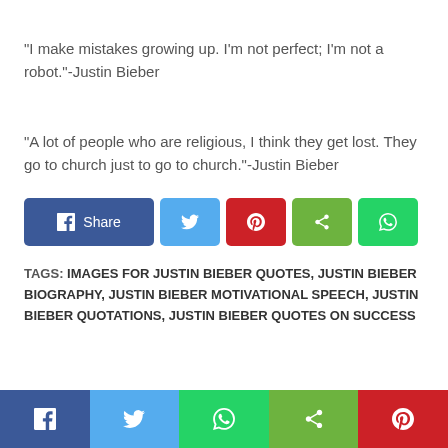“I make mistakes growing up. I’m not perfect; I’m not a robot.”-Justin Bieber
“A lot of people who are religious, I think they get lost. They go to church just to go to church.”-Justin Bieber
[Figure (infographic): Social share buttons: Facebook Share, Twitter, Pinterest, Share, WhatsApp]
TAGS: IMAGES FOR JUSTIN BIEBER QUOTES, JUSTIN BIEBER BIOGRAPHY, JUSTIN BIEBER MOTIVATIONAL SPEECH, JUSTIN BIEBER QUOTATIONS, JUSTIN BIEBER QUOTES ON SUCCESS
Bottom social share bar: Facebook, Twitter, WhatsApp, Share, Pinterest